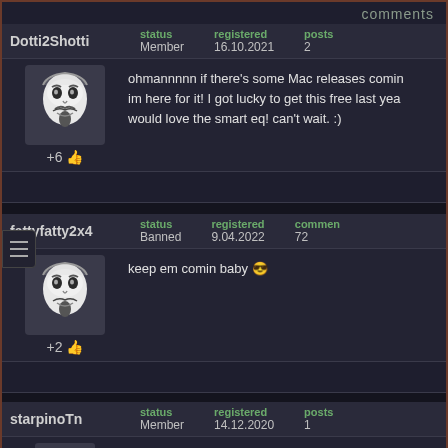comments
Dotti2Shotti | status: Member | registered: 16.10.2021 | posts: 2
ohmannnnn if there's some Mac releases comin im here for it! I got lucky to get this free last yea would love the smart eq! can't wait. :)
+6
fattyfatty2x4 | status: Banned | registered: 9.04.2022 | commen: 72
keep em comin baby 😎
+2
starpinoTn | status: Member | registered: 14.12.2020 | posts: 1
"Winter is coming" 🙂
Winter came for house "Sonible" 😄